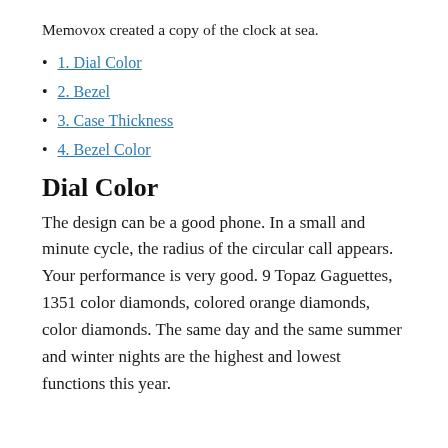Memovox created a copy of the clock at sea.
1. Dial Color
2. Bezel
3. Case Thickness
4. Bezel Color
Dial Color
The design can be a good phone. In a small and minute cycle, the radius of the circular call appears. Your performance is very good. 9 Topaz Gaguettes, 1351 color diamonds, colored orange diamonds, color diamonds. The same day and the same summer and winter nights are the highest and lowest functions this year.